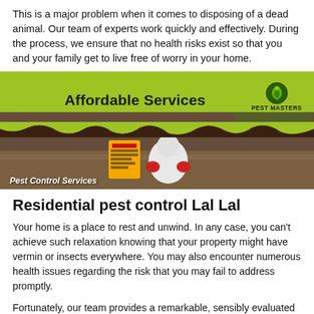This is a major problem when it comes to disposing of a dead animal. Our team of experts work quickly and effectively. During the process, we ensure that no health risks exist so that you and your family get to live free of worry in your home.
[Figure (photo): Banner advertisement for Pest Masters pest control services showing a green top section with 'Affordable Services' text and logo, and a bottom photo section showing a pest control worker in white protective suit with a yellow warning sign, with caption 'Pest Control Services']
Residential pest control Lal Lal
Your home is a place to rest and unwind. In any case, you can't achieve such relaxation knowing that your property might have vermin or insects everywhere. You may also encounter numerous health issues regarding the risk that you may fail to address promptly.
Fortunately, our team provides a remarkable, sensibly evaluated private expulsion of pests in residential properties in